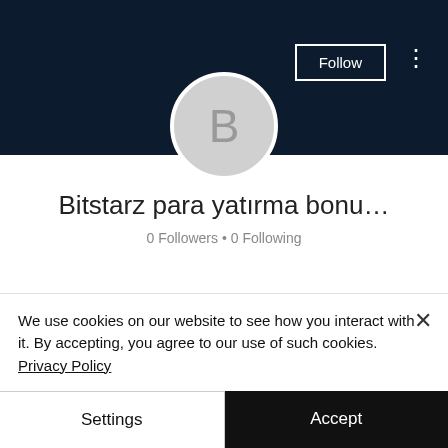[Figure (screenshot): Dark navy header banner background]
[Figure (illustration): Circular avatar with letter B on gray background]
Bitstarz para yatırma bonu…
0 Followers • 0 Following
Profile
Join date: May 17, 2022
We use cookies on our website to see how you interact with it. By accepting, you agree to our use of such cookies. Privacy Policy
Settings
Accept